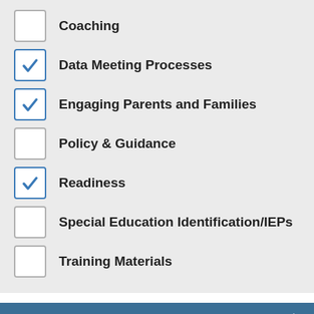Coaching (unchecked)
Data Meeting Processes (checked)
Engaging Parents and Families (checked)
Policy & Guidance (unchecked)
Readiness (checked)
Special Education Identification/IEPs (unchecked)
Training Materials (unchecked)
Audience
Educators (unchecked)
Higher Education Faculty (checked)